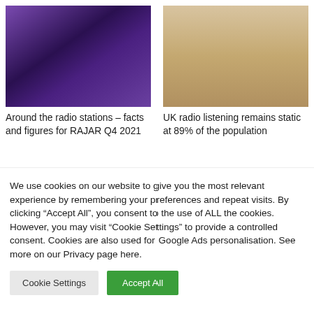[Figure (photo): DJ in a radio studio with purple lighting, wearing headphones and sitting at a mixing desk. Capital Dance logo visible in top left.]
Around the radio stations – facts and figures for RAJAR Q4 2021
[Figure (photo): Two men sitting at a table, smiling and talking, with food and a smart speaker on the table. Bright natural light from window.]
UK radio listening remains static at 89% of the population
We use cookies on our website to give you the most relevant experience by remembering your preferences and repeat visits. By clicking "Accept All", you consent to the use of ALL the cookies. However, you may visit "Cookie Settings" to provide a controlled consent. Cookies are also used for Google Ads personalisation. See more on our Privacy page here.
Cookie Settings
Accept All